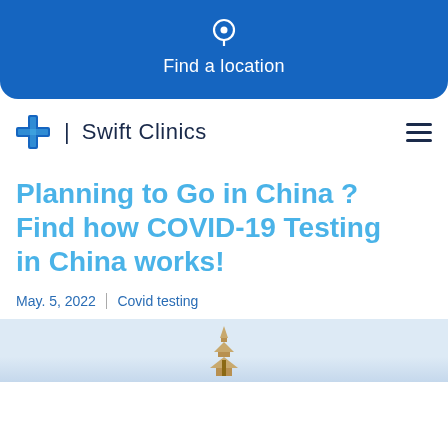Find a location
[Figure (logo): Swift Clinics logo with blue cross and text]
Planning to Go in China ? Find how COVID-19 Testing in China works!
May. 5, 2022 | Covid testing
[Figure (photo): Image showing a pagoda or Chinese building with light sky background]